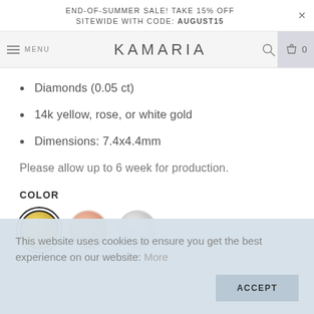END-OF-SUMMER SALE! TAKE 15% OFF SITEWIDE WITH CODE: AUGUST15
MENU  KAMARIA  0
Diamonds (0.05 ct)
14k yellow, rose, or white gold
Dimensions: 7.4x4.4mm
Please allow up to 6 week for production.
COLOR
[Figure (infographic): Three color swatches: yellow gold (selected, with dark border), rose gold, and white gold]
This website uses cookies to ensure you get the best experience on our website: More
ACCEPT